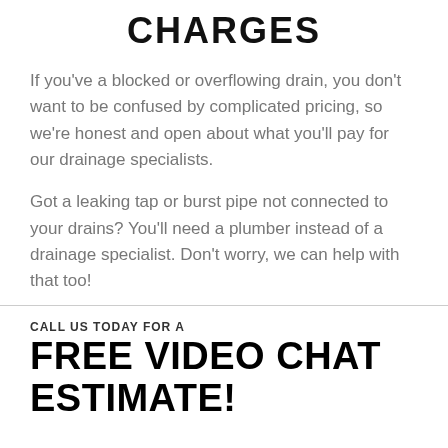CHARGES
If you've a blocked or overflowing drain, you don't want to be confused by complicated pricing, so we're honest and open about what you'll pay for our drainage specialists.
Got a leaking tap or burst pipe not connected to your drains? You'll need a plumber instead of a drainage specialist. Don't worry, we can help with that too!
CALL US TODAY FOR A
FREE VIDEO CHAT ESTIMATE!